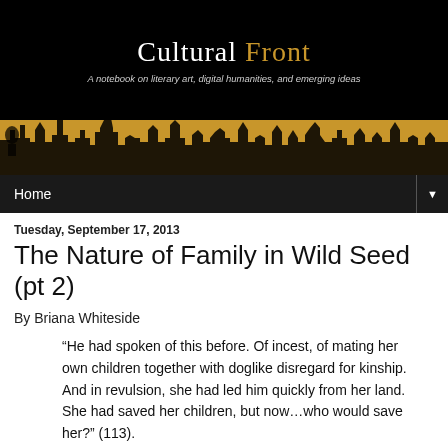[Figure (illustration): Cultural Front blog header banner. Black background with 'Cultural Front' text (Cultural in white, Front in gold/amber). Subtitle: 'A notebook on literary art, digital humanities, and emerging ideas'. Bottom portion has a gold/amber illustrated cityscape silhouette with figures.]
Home ▼
Tuesday, September 17, 2013
The Nature of Family in Wild Seed (pt 2)
By Briana Whiteside
“He had spoken of this before. Of incest, of mating her own children together with doglike disregard for kinship. And in revulsion, she had led him quickly from her land. She had saved her children, but now…who would save her?” (113).